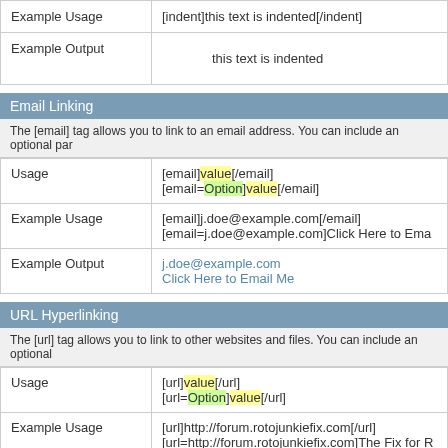|  |  |
| --- | --- |
| Example Usage | [indent]this text is indented[/indent] |
| Example Output | this text is indented |
Email Linking
The [email] tag allows you to link to an email address. You can include an optional par
|  |  |
| --- | --- |
| Usage | [email]value[/email]
[email=Option]value[/email] |
| Example Usage | [email]j.doe@example.com[/email]
[email=j.doe@example.com]Click Here to Ema |
| Example Output | j.doe@example.com
Click Here to Email Me |
URL Hyperlinking
The [url] tag allows you to link to other websites and files. You can include an optional
|  |  |
| --- | --- |
| Usage | [url]value[/url]
[url=Option]value[/url] |
| Example Usage | [url]http://forum.rotojunkiefix.com[/url]
[url=http://forum.rotojunkiefix.com]The Fix for R |
| Example Output | http://forum.rotojunkiefix.com
The Fix for Rotojunkies |